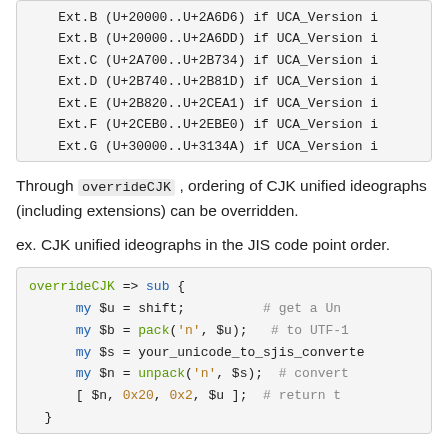[Figure (screenshot): Code block showing CJK extension Unicode ranges with Ext.B through Ext.G entries and UCA_Version conditions]
Through overrideCJK , ordering of CJK unified ideographs (including extensions) can be overridden.
ex. CJK unified ideographs in the JIS code point order.
[Figure (screenshot): Code block showing overrideCJK => sub { my $u = shift; # get a Un my $b = pack('n', $u); # to UTF-1 my $s = your_unicode_to_sjis_converte my $n = unpack('n', $s); # convert [ $n, 0x20, 0x2, $u ]; # return t }]